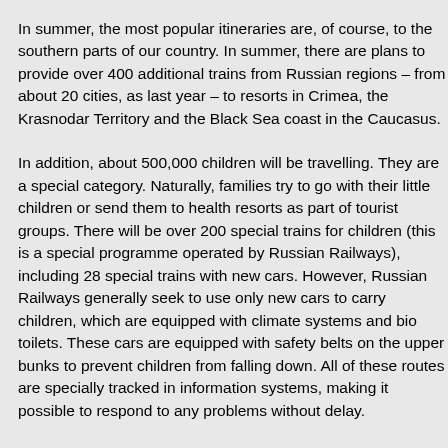In summer, the most popular itineraries are, of course, to the southern parts of our country. In summer, there are plans to provide over 400 additional trains from Russian regions – from about 20 cities, as last year – to resorts in Crimea, the Krasnodar Territory and the Black Sea coast in the Caucasus.
In addition, about 500,000 children will be travelling. They are a special category. Naturally, families try to go with their little children or send them to health resorts as part of tourist groups. There will be over 200 special trains for children (this is a special programme operated by Russian Railways), including 28 special trains with new cars. However, Russian Railways generally seek to use only new cars to carry children, which are equipped with climate systems and bio toilets. These cars are equipped with safety belts on the upper bunks to prevent children from falling down. All of these routes are specially tracked in information systems, making it possible to respond to any problems without delay.